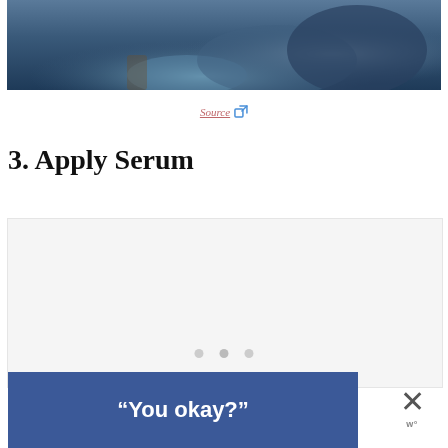[Figure (photo): Bottom portion of a person sitting, wearing blue jeans, with dark furniture/cushions visible in background]
Source ⧉
3. Apply Serum
[Figure (photo): Light gray content/image placeholder box]
“You okay?”